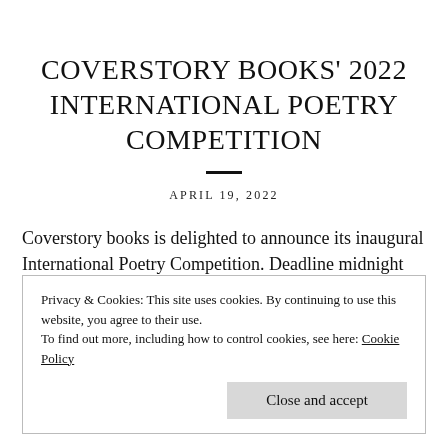COVERSTORY BOOKS' 2022 INTERNATIONAL POETRY COMPETITION
APRIL 19, 2022
Coverstory books is delighted to announce its inaugural International Poetry Competition. Deadline midnight
Privacy & Cookies: This site uses cookies. By continuing to use this website, you agree to their use.
To find out more, including how to control cookies, see here: Cookie Policy
Close and accept